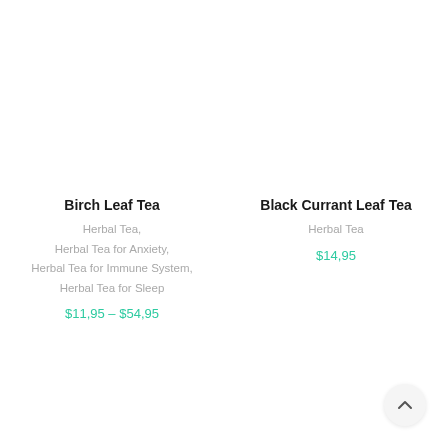Birch Leaf Tea
Herbal Tea, Herbal Tea for Anxiety, Herbal Tea for Immune System, Herbal Tea for Sleep
$11,95 – $54,95
Black Currant Leaf Tea
Herbal Tea
$14,95